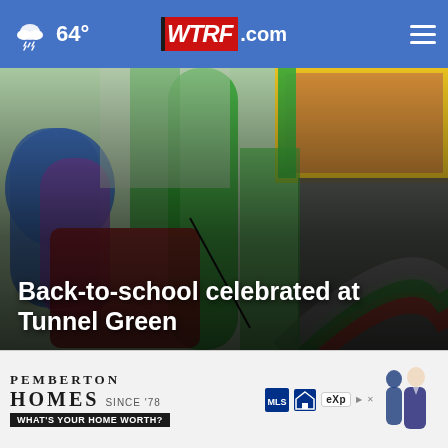64° WTRF.com
[Figure (photo): Colorful inflatable bounce house and slide at an outdoor event]
Back-to-school celebrated at Tunnel Green
[Figure (photo): Aerial or outdoor news photo thumbnail on left]
[Figure (screenshot): Video player thumbnail with play button, showing DRIFTY text, with close X button]
[Figure (other): Pemberton Homes advertisement - SINCE '78 - WHAT'S YOUR HOME WORTH? with real estate logos and people]